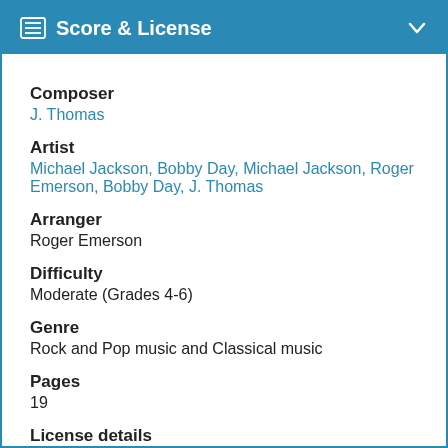Score & License
Composer
J. Thomas
Artist
Michael Jackson, Bobby Day, Michael Jackson, Roger Emerson, Bobby Day, J. Thomas
Arranger
Roger Emerson
Difficulty
Moderate (Grades 4-6)
Genre
Rock and Pop music and Classical music
Pages
19
License details
View licensing details...